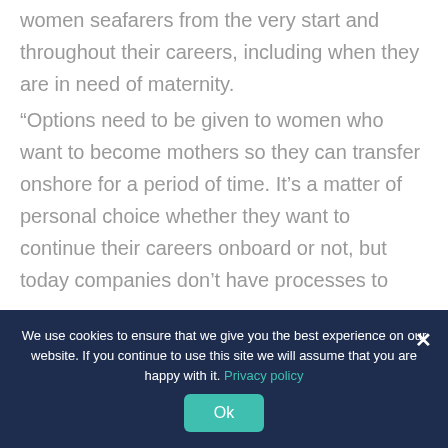women seafarers from the very start and throughout their careers, including when they are in need of maternity.
“Options need to be given to women who want to become mothers so they can transfer onshore for a period of time. It’s a matter of personal choice whether they want to continue their careers onboard or not, but today companies don’t have processes to
We use cookies to ensure that we give you the best experience on our website. If you continue to use this site we will assume that you are happy with it. Privacy policy